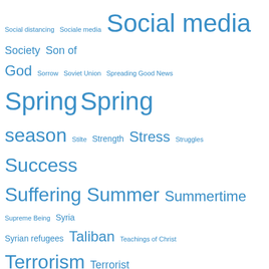[Figure (infographic): Word cloud containing terms related to social, political, religious, and global topics. Words vary in size indicating frequency/importance. All words are in blue on white background. Terms include: Social distancing, Sociale media, Social media, Society, Son of God, Sorrow, Soviet Union, Spreading Good News, Spring, Spring season, Stilte, Strength, Stress, Struggles, Success, Suffering, Summer, Summertime, Supreme Being, Syria, Syrian refugees, Taliban, Teachings of Christ, Terrorism, Terrorist attacks, the Self, the Way, the Way to God, Tijd, Time, Toekomst, to Enjoy life, to Pray, to Preach, Torah, to Share, Trees, Trinity, Trust, Trust God, Truth, Turkey, Twitter, Ukraine, Understanding, United Kingdom, United States of America, Values, Verandering, Verantwoordelijkheid, Verdriet, Verleden, Vertrouwen, Vertrouwen op God, Violence, Virus, Vladimir Putin, Vluchtelingen, Voice of God, Vrede, Vriendschap, Vrijheid, War]